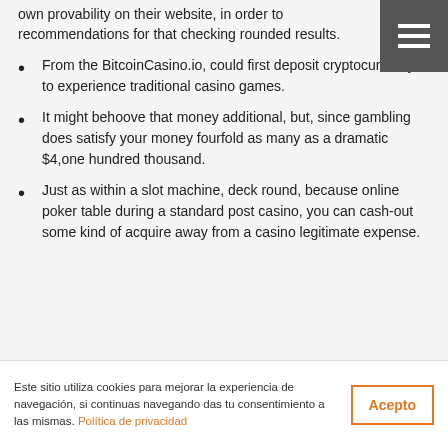own provability on their website, in order to recommendations for that checking rounded results.
From the BitcoinCasino.io, could first deposit cryptocurrency to experience traditional casino games.
It might behoove that money additional, but, since gambling does satisfy your money fourfold as many as a dramatic $4,one hundred thousand.
Just as within a slot machine, deck round, because online poker table during a standard post casino, you can cash-out some kind of acquire away from a casino legitimate expense.
Este sitio utiliza cookies para mejorar la experiencia de navegación, si continuas navegando das tu consentimiento a las mismas. Política de privacidad